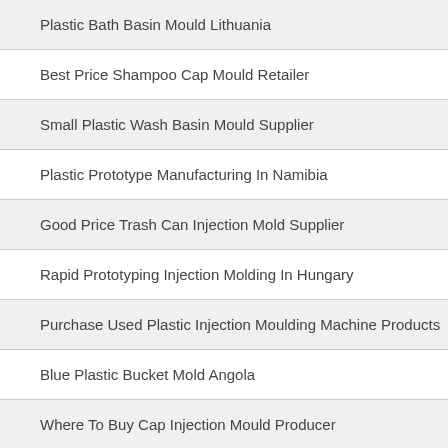Plastic Bath Basin Mould Lithuania
Best Price Shampoo Cap Mould Retailer
Small Plastic Wash Basin Mould Supplier
Plastic Prototype Manufacturing In Namibia
Good Price Trash Can Injection Mold Supplier
Rapid Prototyping Injection Molding In Hungary
Purchase Used Plastic Injection Moulding Machine Products
Blue Plastic Bucket Mold Angola
Where To Buy Cap Injection Mould Producer
12 Gallon Trash Can With Lid Sri Lanka